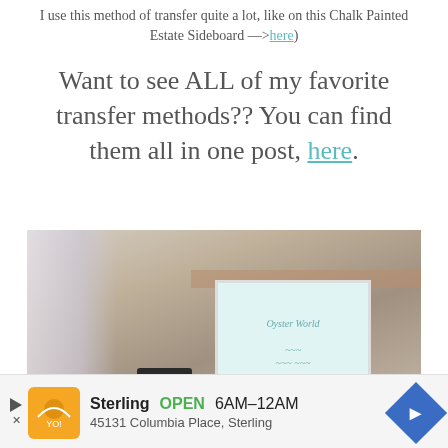I use this method of transfer quite a lot, like on this Chalk Painted Estate Sideboard —>here)
Want to see ALL of my favorite transfer methods?? You can find them all in one post, here.
[Figure (photo): Photo of a piece of furniture or decorative item with chalk painted design, placed near a window with curtains, on a wooden shelf in a room with tan/neutral walls.]
Sterling  OPEN  6AM–12AM  45131 Columbia Place, Sterling